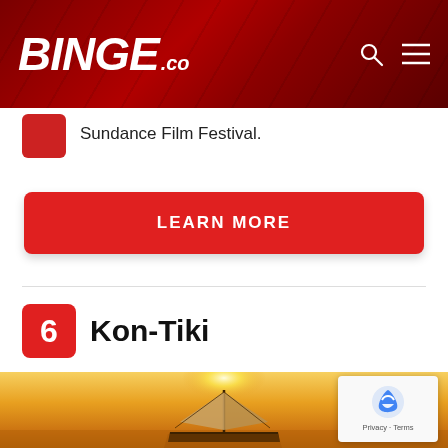BINGE.co
Sundance Film Festival.
LEARN MORE
6  Kon-Tiki
[Figure (photo): Movie still from Kon-Tiki: a sailing ship silhouette against a golden sunset sky over the ocean.]